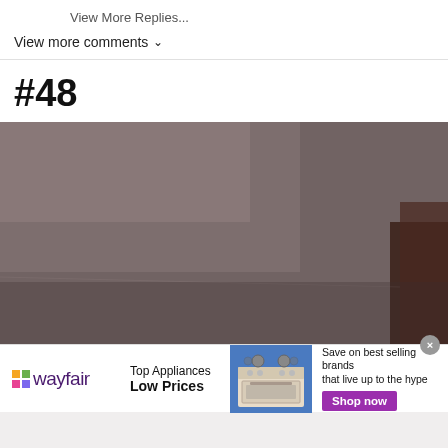View More Replies...
View more comments ∨
#48
[Figure (photo): Blurred dark photo showing what appears to be black feathers or fabric against a grayish-brown background with a white cloth visible]
[Figure (infographic): Wayfair advertisement banner: 'Top Appliances Low Prices' with an image of a kitchen range/stove and text 'Save on best selling brands that live up to the hype' with a purple 'Shop now' button]